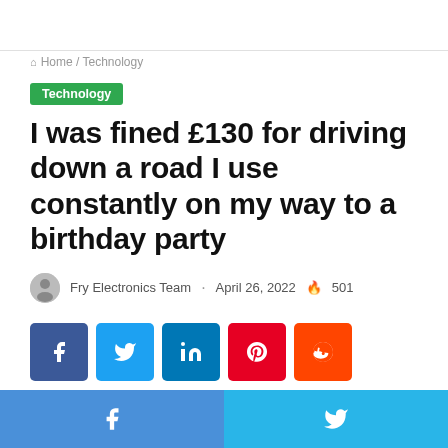Home / Technology
Technology
I was fined £130 for driving down a road I use constantly on my way to a birthday party
Fry Electronics Team · April 26, 2022 🔥 501
[Figure (other): Social share buttons: Facebook, Twitter, LinkedIn, Pinterest, Reddit]
Facebook share | Twitter share bottom bar